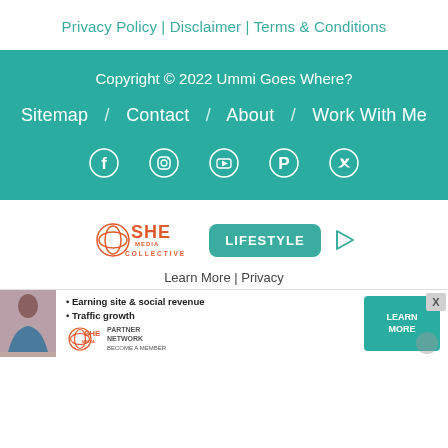Privacy Policy | Disclaimer | Terms & Conditions
Copyright © 2022 Ummi Goes Where?
Sitemap / Contact / About / Work With Me
[Figure (infographic): Social media icons: Facebook, Instagram, YouTube, Pinterest, Twitter in white on teal background]
[Figure (logo): SHE Media Collective LIFESTYLE advertisement block with play button]
Learn More | Privacy
[Figure (infographic): SHE Partner Network advertisement banner with person photo, bullet points: Earning site & social revenue, Traffic growth, LEARN MORE button]